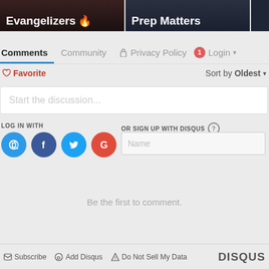[Figure (screenshot): Top banner with two dark tiles showing 'Evangelizers' and 'Prep Matters' text labels]
Comments   Community   🔒 Privacy Policy   1 Login
♡ Favorite   Sort by Oldest ▾
Start the discussion...
LOG IN WITH
OR SIGN UP WITH DISQUS ?
Name
Be the first to comment.
✉ Subscribe   Ⓓ Add Disqus   ⚠ Do Not Sell My Data   DISQUS